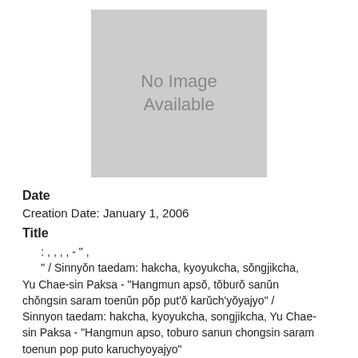[Figure (photo): No Image Available placeholder box]
Date
Creation Date: January 1, 2006
Title
: , , , , - " , " / Sinnyŏn taedam: hakcha, kyoyukcha, sŏngjikcha, Yu Chae-sin Paksa - "Hangmun apsŏ, tŏburŏ sanŭn chŏngsin saram toenŭn pŏp put'ŏ karŭch'yŏyajyo" / Sinnyon taedam: hakcha, kyoyukcha, songjikcha, Yu Chae-sin Paksa - "Hangmun apso, toburo sanun chongsin saram toenun pop puto karuchyoyajyo"